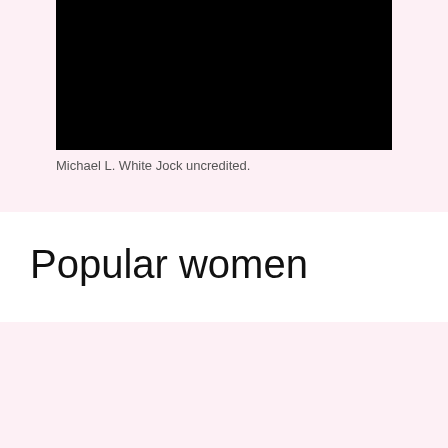[Figure (photo): Black rectangular image area, appears to be a video or photo frame, mostly black]
Michael L. White Jock uncredited.
Popular women
[Figure (photo): Black rectangular image area with faint white text partially visible at the bottom, appears to be a video or photo frame]